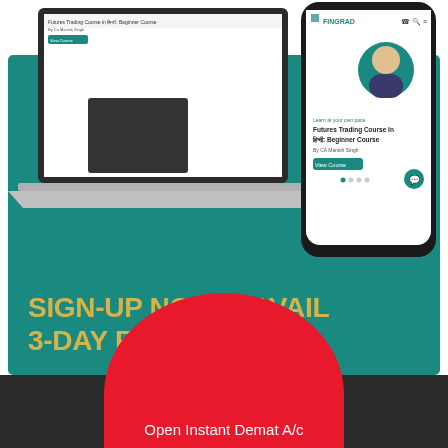[Figure (screenshot): Teal background promotional banner showing laptop and mobile phone mockups of FINGRAD platform with Futures Trading Course in Hindi: Beginner Course listings]
SIGN-UP NOW & AVAIL 3-DAY FREE TRIAL!
[Figure (infographic): Dark bar with red oval shape at bottom showing 'Open Instant Demat A/c' text on white]